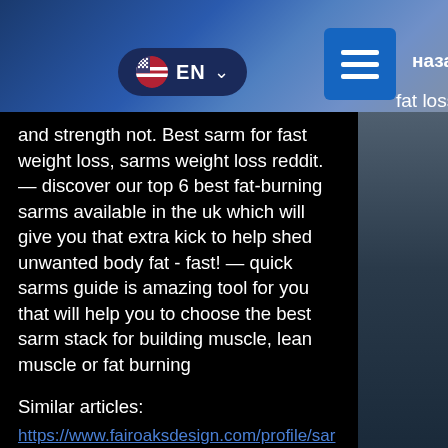[Figure (screenshot): Website header with language selector showing EN with US flag, hamburger menu button in blue, and partial Russian text 'назад' and 'fat loss' visible on the right]
and strength not. Best sarm for fast weight loss, sarms weight loss reddit. — discover our top 6 best fat-burning sarms available in the uk which will give you that extra kick to help shed unwanted body fat - fast! — quick sarms guide is amazing tool for you that will help you to choose the best sarm stack for building muscle, lean muscle or fat burning
Similar articles:
https://www.fairoaksdesign.com/profile/sarms-fat-loss-cycle-sarms-cycle-3471/profile
https://convertyourspace.com/groups/how-to-take-liquid-clenbuterol-for-weight-loss-liquid-clenbuterol-dosage-chart/
http://dominioncastiron.com/2022/05/06/cjc-1295-fat-loss-results-cjc-1295-ipamorelin-blend-dosage-for-weight-loss/